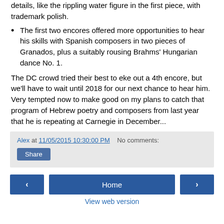details, like the rippling water figure in the first piece, with trademark polish.
The first two encores offered more opportunities to hear his skills with Spanish composers in two pieces of Granados, plus a suitably rousing Brahms' Hungarian dance No. 1.
The DC crowd tried their best to eke out a 4th encore, but we'll have to wait until 2018 for our next chance to hear him. Very tempted now to make good on my plans to catch that program of Hebrew poetry and composers from last year that he is repeating at Carnegie in December...
Alex at 11/05/2015 10:30:00 PM   No comments:
Share
‹
Home
›
View web version